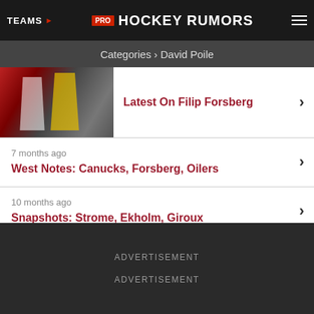TEAMS | PRO HOCKEY RUMORS
Categories › David Poile
Latest On Filip Forsberg
7 months ago
West Notes: Canucks, Forsberg, Oilers
10 months ago
Snapshots: Strome, Ekholm, Giroux
11 months ago
Latest On Mattias Ekholm, Filip Forsberg
ADVERTISEMENT
ADVERTISEMENT